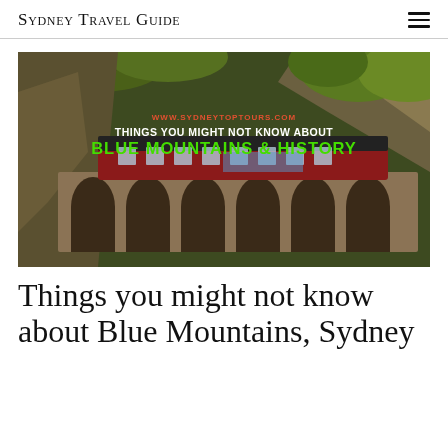Sydney Travel Guide
[Figure (photo): Hero image showing a vintage red train crossing a stone viaduct bridge through a rocky mountain gorge with green vegetation, overlaid with text: 'www.sydneytoptours.com' in orange/red, 'THINGS YOU MIGHT NOT KNOW ABOUT' in white bold, and 'BLUE MOUNTAINS & HISTORY' in bright green bold.]
Things you might not know about Blue Mountains, Sydney